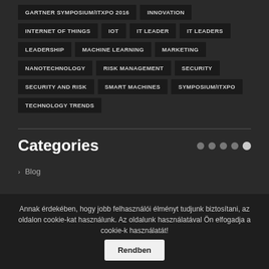GARTNER SYMPOSIUM/ITXPO 2016
INNOVATION
INTERNET OF THINGS
IOT
IT LEADER
IT LEADERS
LEADERSHIP
MACHINE LEARNING
MARKETING
NANOTECHNOLOGY
RISK MANAGEMENT
SECURITY
SECURITY AND RISK
SMART MACHINES
SYMPOSIUM/ITXPO
TECHNOLOGY TRENDS
Categories
Blog
CIO Forum
CIO Story
Annak érdekében, hogy jobb felhasználói élményt tudjunk biztosítani, az oldalon cookie-kat használunk. Az oldalunk használatával Ön elfogadja a cookie-k használatát!